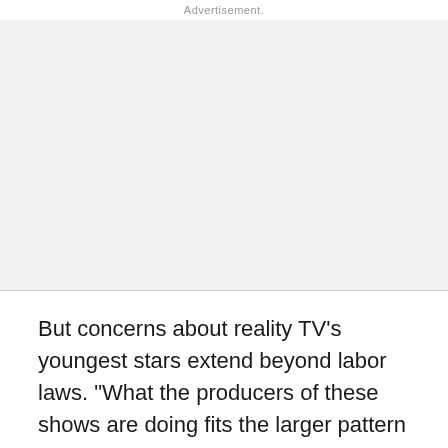Advertisement
[Figure (other): Advertisement placeholder area, light gray background]
But concerns about reality TV's youngest stars extend beyond labor laws. "What the producers of these shows are doing fits the larger pattern of commercial exploitation of children that's been growing for the past